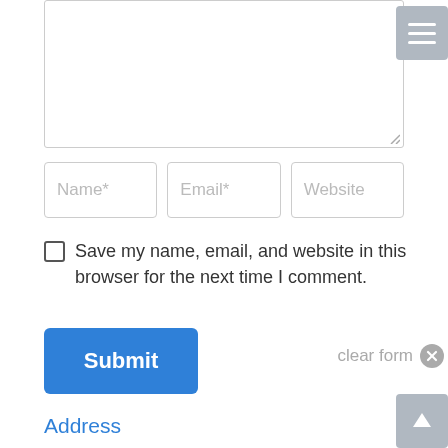[Figure (screenshot): Textarea input stub at top of page]
Name*
Email*
Website
Save my name, email, and website in this browser for the next time I comment.
Submit
clear form
Address
Angling Unlimited
Halibut Point Rd
Sitka, Alaska 99835
Phone
907-312-7217
Email